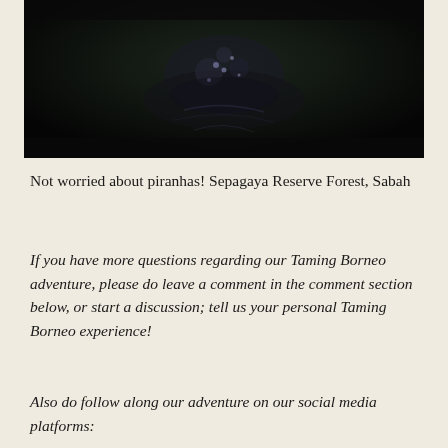[Figure (photo): Dark nighttime photo of water surface with light reflections, taken at Sepagaya Reserve Forest, Sabah]
Not worried about piranhas! Sepagaya Reserve Forest, Sabah
If you have more questions regarding our Taming Borneo adventure, please do leave a comment in the comment section below, or start a discussion; tell us your personal Taming Borneo experience!
Also do follow along our adventure on our social media platforms: